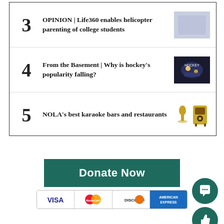3 OPINION | Life360 enables helicopter parenting of college students
4 From the Basement | Why is hockey's popularity falling?
5 NOLA's best karaoke bars and restaurants
Donate Now
[Figure (other): Payment method icons: VISA, MasterCard, Discover, American Express]
[Figure (other): Floating comment button (speech bubble icon)]
[Figure (other): Floating like/thumbs-up button]